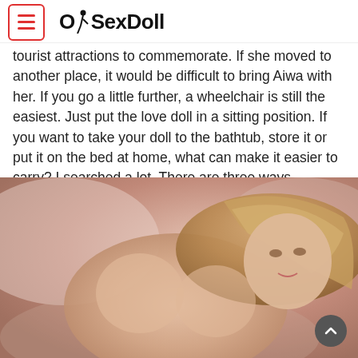OhSexDoll
tourist attractions to commemorate. If she moved to another place, it would be difficult to bring Aiwa with her. If you go a little further, a wheelchair is still the easiest. Just put the love doll in a sitting position. If you want to take your doll to the bathtub, store it or put it on the bed at home, what can make it easier to carry? I searched a lot. There are three ways.
[Figure (photo): A realistic female doll with long blonde hair lying on pinkish fabric, photographed from above at an angle.]